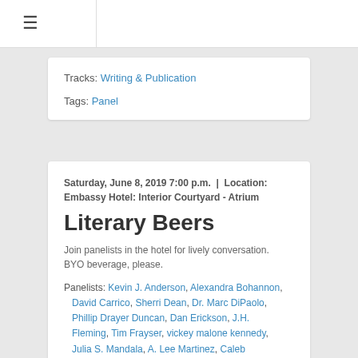≡
Tracks: Writing & Publication
Tags: Panel
Saturday, June 8, 2019 7:00 p.m. | Location: Embassy Hotel: Interior Courtyard - Atrium
Literary Beers
Join panelists in the hotel for lively conversation. BYO beverage, please.
Panelists: Kevin J. Anderson, Alexandra Bohannon, David Carrico, Sherri Dean, Dr. Marc DiPaolo, Phillip Drayer Duncan, Dan Erickson, J.H. Fleming, Tim Frayser, vickey malone kennedy, Julia S. Mandala, A. Lee Martinez, Caleb